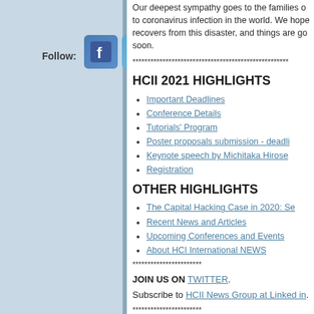[Figure (logo): Follow: label with Facebook and Twitter social media icon buttons on light blue left panel]
Our deepest sympathy goes to the families of those who lost their lives due to coronavirus infection in the world. We hope that the whole world recovers from this disaster, and things are going back to normal very soon.
****************************************************
HCII 2021 HIGHLIGHTS
Important Deadlines
Conference Details
Tutorials' Program
Poster proposals submission - deadline
Keynote speech by Michitaka Hirose
Registration
OTHER HIGHLIGHTS
The Capital Hacking Case in 2020: Se
Recent News and Articles
Upcoming Conferences and Events
About HCI International NEWS
***********************
JOIN US ON TWITTER.
Subscribe to HCII News Group at Linked in.
***********************
HCII 2021: Important Deadlines